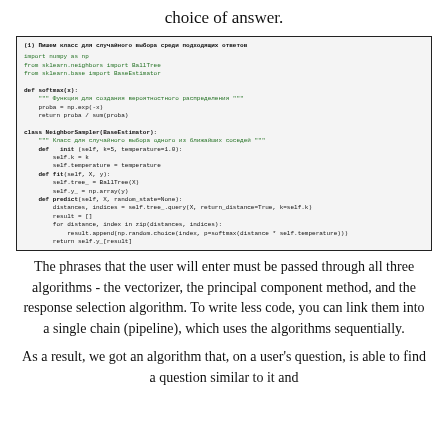choice of answer.
[Figure (screenshot): Code block showing Python class NeighborSampler with import statements, softmax function, and predict method using BallTree from sklearn.]
The phrases that the user will enter must be passed through all three algorithms - the vectorizer, the principal component method, and the response selection algorithm. To write less code, you can link them into a single chain (pipeline), which uses the algorithms sequentially.
As a result, we got an algorithm that, on a user's question, is able to find a question similar to it and